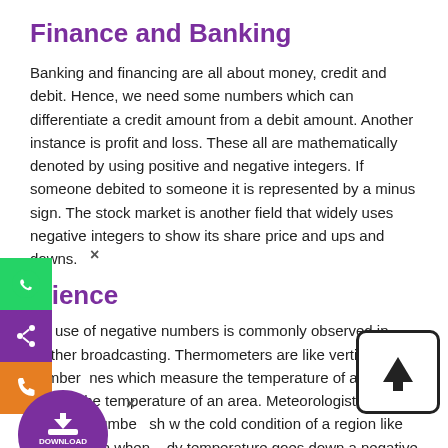Finance and Banking
Banking and financing are all about money, credit and debit. Hence, we need some numbers which can differentiate a credit amount from a debit amount. Another instance is profit and loss. These all are mathematically denoted by using positive and negative integers. If someone debited to someone it is represented by a minus sign. The stock market is another field that widely uses negative integers to show its share price and ups and downs.
Science
The use of negative numbers is commonly observed in weather broadcasting. Thermometers are like vertical number lines which measure the temperature of a body as well as the temperature of an area. Meteorologist uses negative numbers to show the cold condition of a region like -15˚C. Even when body temperature goes down a negative integer is used to represent the condition. Temperature below zero is denoted with a negative sign while a temperature above zero is denoted with a positive sign. Other instruments and conditions